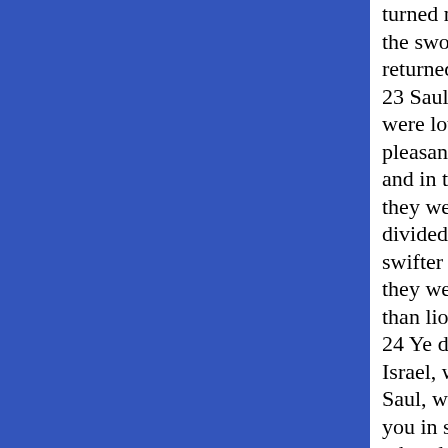turned not back, and the sword of Saul returned not empty. 23 Saul and Jonathan were lovely and pleasant in their lives, and in their death they were not divided: they were swifter than eagles, they were stronger than lions. 24 Ye daughters of Israel, weep over Saul, who clothed you in scarlet, with other delights, who put on ornaments of gold upon your apparel. 25 How are the mighty fallen in the midst of the